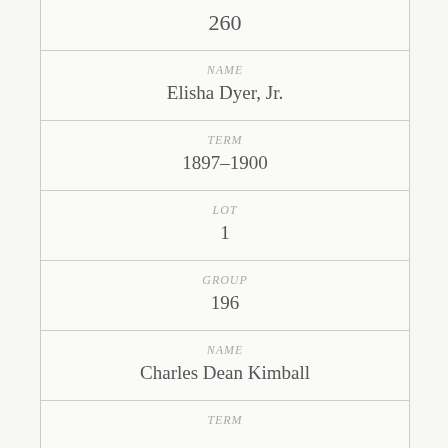260
NAME
Elisha Dyer, Jr.
TERM
1897–1900
LOT
1
GROUP
196
NAME
Charles Dean Kimball
TERM